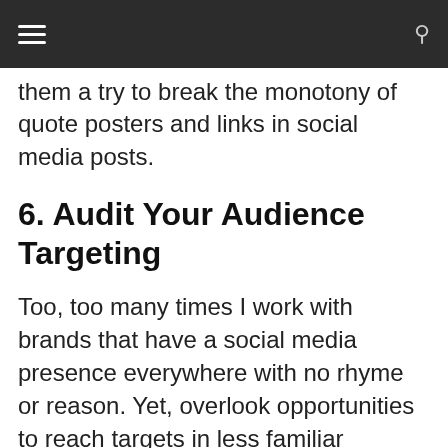☰  🔍
them a try to break the monotony of quote posters and links in social media posts.
6. Audit Your Audience Targeting
Too, too many times I work with brands that have a social media presence everywhere with no rhyme or reason. Yet, overlook opportunities to reach targets in less familiar platforms. If you're one of these brands you already